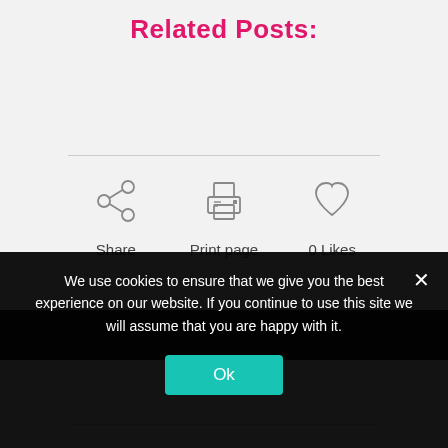Related Posts:
[Figure (infographic): Three icons in a row: Share (network/share icon), Print page (printer icon), 0 Likes (heart icon), each with a text label below]
We use cookies to ensure that we give you the best experience on our website. If you continue to use this site we will assume that you are happy with it.